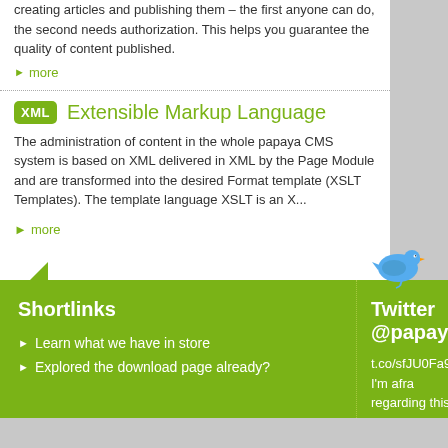creating articles and publishing them – the first anyone can do, the second needs authorization. This helps you guarantee the quality of content published.
► more
Extensible Markup Language
The administration of content in the whole papaya CMS system is based on XML delivered in XML by the Page Module and are transformed into the desired format by Format template (XSLT Templates). The template language XSLT is an X...
► more
Shortlinks
► Learn what we have in store
► Explored the download page already?
Twitter @papaya
t.co/sfJU0Fa9Ru I'm afraid regarding this twitter account this 6.1 release of the...